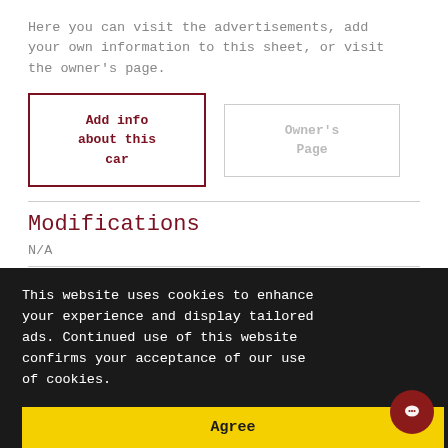Here you can visit the advertisements, add your own information to this sheet, or visit the owner's page.
[Figure (screenshot): Two buttons: 'Add info about this car' (dark red border) and 'Owner's Page' (gray border/text)]
Modifications
N/A
Crash / Damage History
This car was advertised as damaged on POCTRA.COM on 25 Apr 2019 at mileage 3 744 m.
This website uses cookies to enhance your experience and display tailored ads. Continued use of this website confirms your acceptance of our use of cookies.